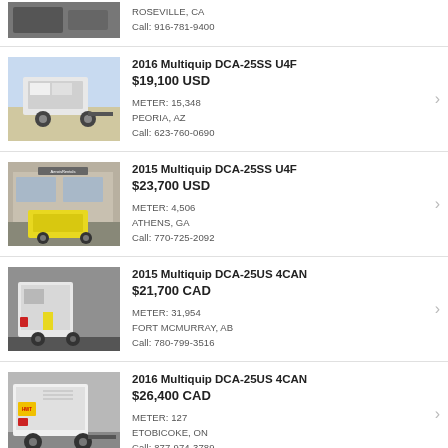[Figure (photo): Partial top listing - generator equipment photo]
ROSEVILLE, CA
Call: 916-781-9400
[Figure (photo): 2016 Multiquip DCA-25SS U4F generator on trailer]
2016 Multiquip DCA-25SS U4F
$19,100 USD
METER: 15,348
PEORIA, AZ
Call: 623-760-0690
[Figure (photo): 2015 Multiquip DCA-25SS U4F generator at dealership]
2015 Multiquip DCA-25SS U4F
$23,700 USD
METER: 4,506
ATHENS, GA
Call: 770-725-2092
[Figure (photo): 2015 Multiquip DCA-25US 4CAN generator]
2015 Multiquip DCA-25US 4CAN
$21,700 CAD
METER: 31,954
FORT MCMURRAY, AB
Call: 780-799-3516
[Figure (photo): 2016 Multiquip DCA-25US 4CAN generator on trailer]
2016 Multiquip DCA-25US 4CAN
$26,400 CAD
METER: 127
ETOBICOKE, ON
Call: 877-974-3789
[Figure (photo): 2016 Multiquip DCA-45US 4CAN generator - partial]
2016 Multiquip DCA-45US 4CAN
$27,700 CAD